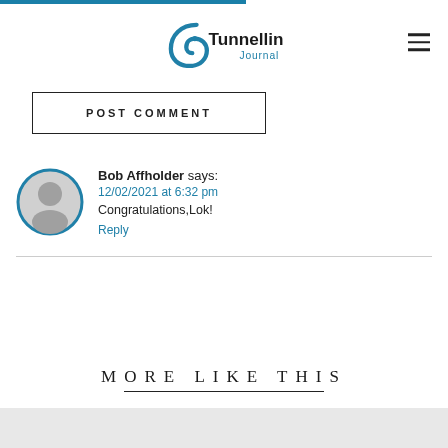Tunnelling Journal
POST COMMENT
Bob Affholder says: 12/02/2021 at 6:32 pm Congratulations,Lok! Reply
MORE LIKE THIS